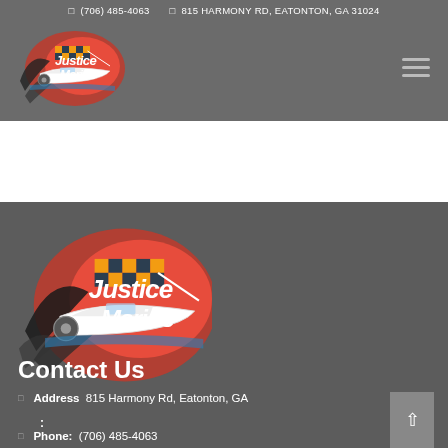(706) 485-4063  815 HARMONY RD, EATONTON, GA 31024
[Figure (logo): Justice Marine logo - boat with colorful flame/checker pattern, header size]
[Figure (logo): Justice Marine logo - boat with colorful flame/checker pattern, large size]
Contact Us
Address   815 Harmony Rd, Eatonton, GA
:
Phone:   (706) 485-4063